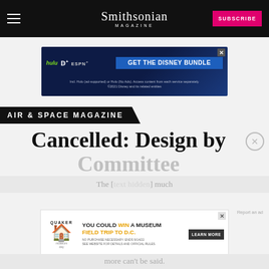Smithsonian Magazine
[Figure (screenshot): Disney Bundle advertisement banner with Hulu, Disney+, ESPN+ logos and GET THE DISNEY BUNDLE call to action]
AIR & SPACE MAGAZINE
Cancelled: Design by Committee
The [text partially obscured] much more can't be said.
[Figure (screenshot): Quaker Museum Day advertisement: YOU COULD WIN A MUSEUM FIELD TRIP TO D.C. LEARN MORE]